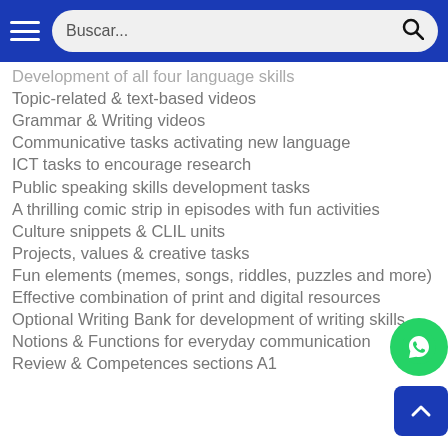Buscar...
Development of all four language skills
Topic-related & text-based videos
Grammar & Writing videos
Communicative tasks activating new language
ICT tasks to encourage research
Public speaking skills development tasks
A thrilling comic strip in episodes with fun activities
Culture snippets & CLIL units
Projects, values & creative tasks
Fun elements (memes, songs, riddles, puzzles and more)
Effective combination of print and digital resources
Optional Writing Bank for development of writing skills
Notions & Functions for everyday communication
Review & Competences sections A1